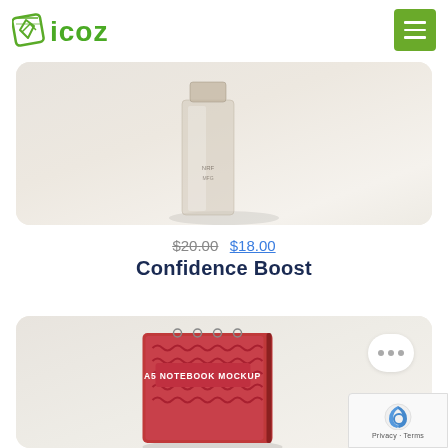icoz
[Figure (photo): Product image of a perfume/fragrance bottle on light beige background, partially cropped]
$20.00 $18.00
Confidence Boost
[Figure (photo): Product image of a red A5 notebook mockup with abstract pattern on light background, partially visible]